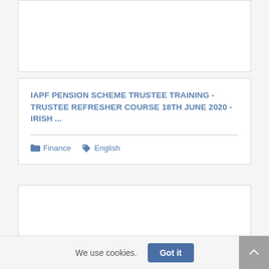[Figure (other): Partially visible card/content block at the top of the page, cut off]
IAPF PENSION SCHEME TRUSTEE TRAINING - TRUSTEE REFRESHER COURSE 18TH JUNE 2020 - IRISH ...
Finance
English
[Figure (other): Empty white card/content block in the lower half of the page]
We use cookies.
Got it